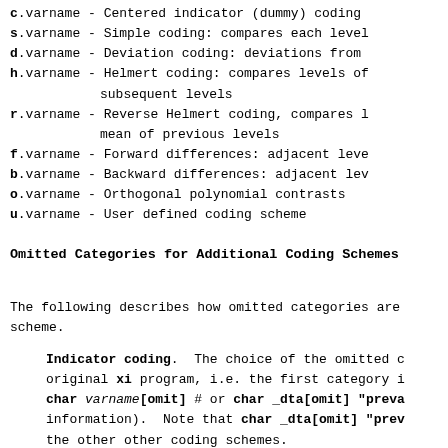c.varname - Centered indicator (dummy) coding
s.varname - Simple coding: compares each level
d.varname - Deviation coding: deviations from
h.varname - Helmert coding: compares levels of subsequent levels
r.varname - Reverse Helmert coding, compares l mean of previous levels
f.varname - Forward differences: adjacent leve
b.varname - Backward differences: adjacent lev
o.varname - Orthogonal polynomial contrasts
u.varname - User defined coding scheme
Omitted Categories for Additional Coding Schemes
The following describes how omitted categories are scheme.
Indicator coding.  The choice of the omitted c original xi program, i.e. the first category i char varname[omit] # or char _dta[omit] "preva information).  Note that char _dta[omit] "prev the other other coding schemes.